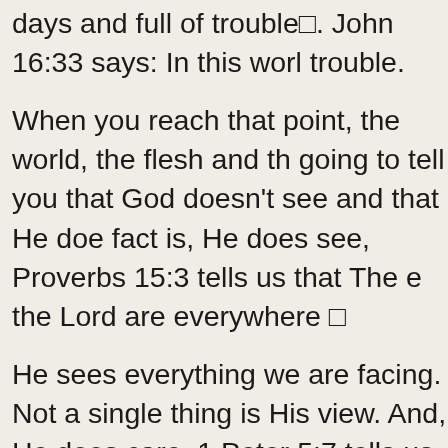days and full of trouble■. John 16:33 says: In this world trouble.
When you reach that point, the world, the flesh and the going to tell you that God doesn't see and that He doe fact is, He does see, Proverbs 15:3 tells us that The e the Lord are everywhere □
He sees everything we are facing. Not a single thing is His view. And, He does care, 1 Peter 5:7 tells us to Ca anxiety on him because he cares for you■. He cares m know about what you are facing.
Our problems, while they may appear to be insurmoun eyes, are really just God's opportunities in disguise. Th matter what you are called on to face in this life, learn Lord first for the help you need. He cares! He is able!
Elisha asked the woman in our story two questions. 1. need? 2.) What do you have? By those two questions was made to see the size of her need and the smallne resources. She needed everything and she had very li needed much, but she could not possibly meet her ow